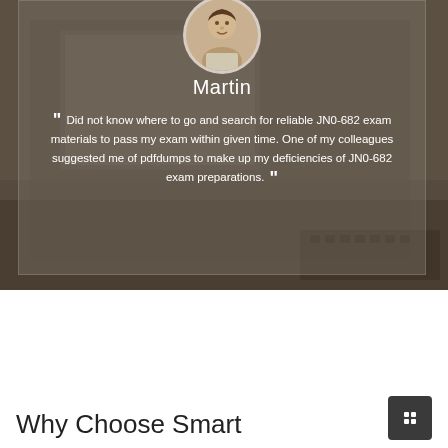[Figure (photo): Background photo of a person working on a laptop, with a semi-transparent overlay card showing a testimonial from Martin about JN0-682 exam preparation using pdfdumps]
Martin
“ Did not know where to go and search for reliable JN0-682 exam materials to pass my exam within given time. One of my colleagues suggested me of pdfdumps to make up my deficiencies of JN0-682 exam preparations. ”
Why Choose Smart